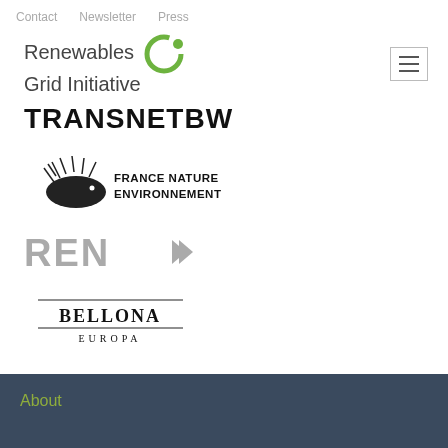Contact   Newsletter   Press
[Figure (logo): Renewables Grid Initiative logo with green circular icon]
[Figure (logo): TransnetBW logo in bold black uppercase letters]
[Figure (logo): France Nature Environnement logo with hedgehog graphic]
[Figure (logo): REN logo in gray with arrow symbol]
[Figure (logo): Bellona Europa logo with lines above and below]
About